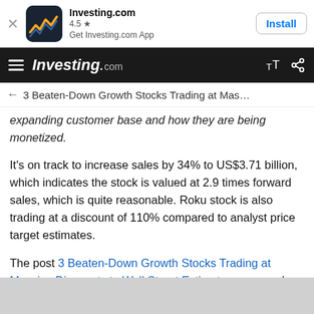[Figure (screenshot): Investing.com app install banner with logo icon, 4.5 star rating, and Install button]
Investing.com navigation bar with hamburger menu, Investing.com logo, text size and share icons
← 3 Beaten-Down Growth Stocks Trading at Mas…
expanding customer base and how they are being monetized.
It's on track to increase sales by 34% to US$3.71 billion, which indicates the stock is valued at 2.9 times forward sales, which is quite reasonable. Roku stock is also trading at a discount of 110% compared to analyst price target estimates.
The post 3 Beaten-Down Growth Stocks Trading at Massive Discounts to Wall Street Estimates appeared